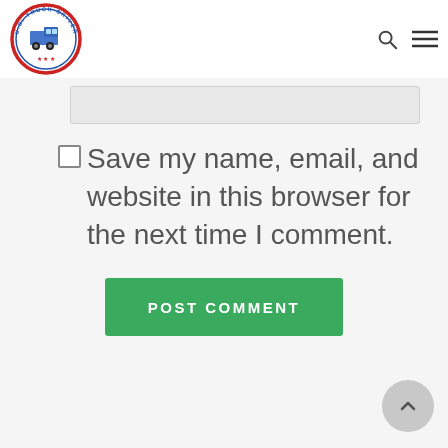[Figure (logo): U.S. Truck Driver Training School circular logo with truck illustration, red and blue border]
Save my name, email, and website in this browser for the next time I comment.
Post Comment